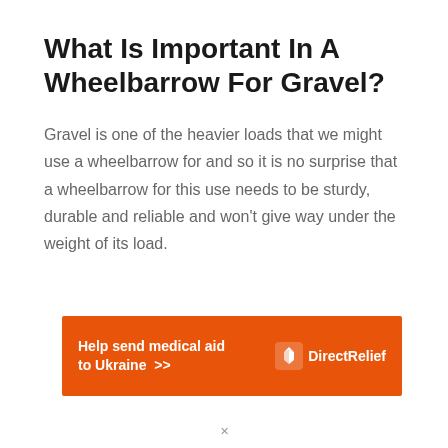What Is Important In A Wheelbarrow For Gravel?
Gravel is one of the heavier loads that we might use a wheelbarrow for and so it is no surprise that a wheelbarrow for this use needs to be sturdy, durable and reliable and won’t give way under the weight of its load.
[Figure (infographic): Orange advertisement banner reading 'Help send medical aid to Ukraine >>' with Direct Relief logo on the right side.]